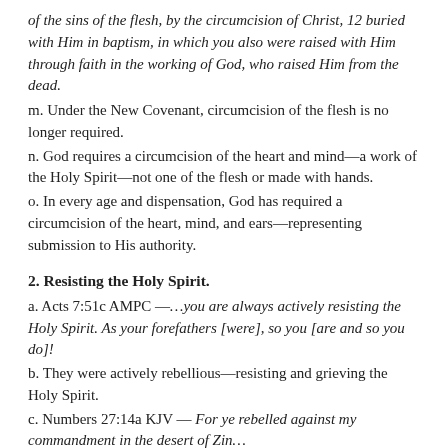of the sins of the flesh, by the circumcision of Christ, 12 buried with Him in baptism, in which you also were raised with Him through faith in the working of God, who raised Him from the dead.
m. Under the New Covenant, circumcision of the flesh is no longer required.
n. God requires a circumcision of the heart and mind—a work of the Holy Spirit—not one of the flesh or made with hands.
o. In every age and dispensation, God has required a circumcision of the heart, mind, and ears—representing submission to His authority.
2. Resisting the Holy Spirit.
a. Acts 7:51c AMPC —…you are always actively resisting the Holy Spirit. As your forefathers [were], so you [are and so you do]!
b. They were actively rebellious—resisting and grieving the Holy Spirit.
c. Numbers 27:14a KJV — For ye rebelled against my commandment in the desert of Zin…
d. Isaiah 63:9-10 KJV — In all their affliction he was afflicted, and the angel of his presence saved them: in his love and in his pity he